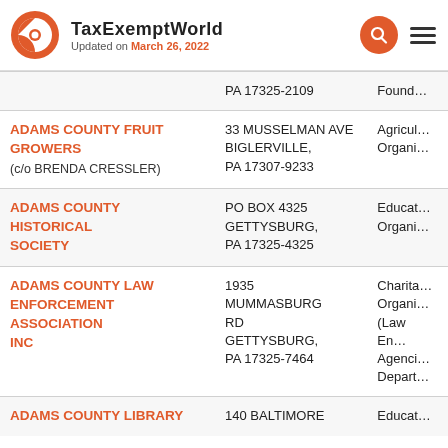TaxExemptWorld — Updated on March 26, 2022
| Organization | Address | Category |
| --- | --- | --- |
|  | PA 17325-2109 | Found... |
| ADAMS COUNTY FRUIT GROWERS (c/o BRENDA CRESSLER) | 33 MUSSELMAN AVE BIGLERVILLE, PA 17307-9233 | Agricultural Organi... |
| ADAMS COUNTY HISTORICAL SOCIETY | PO BOX 4325 GETTYSBURG, PA 17325-4325 | Educational Organi... |
| ADAMS COUNTY LAW ENFORCEMENT ASSOCIATION INC | 1935 MUMMASBURG RD GETTYSBURG, PA 17325-7464 | Charitable Organi... (Law En... Agenci... Depart... |
| ADAMS COUNTY LIBRARY | 140 BALTIMORE | Educat... |